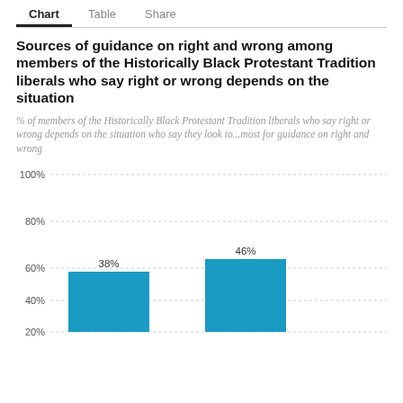Chart | Table | Share
Sources of guidance on right and wrong among members of the Historically Black Protestant Tradition liberals who say right or wrong depends on the situation
% of members of the Historically Black Protestant Tradition liberals who say right or wrong depends on the situation who say they look to...most for guidance on right and wrong
[Figure (bar-chart): Sources of guidance on right and wrong]